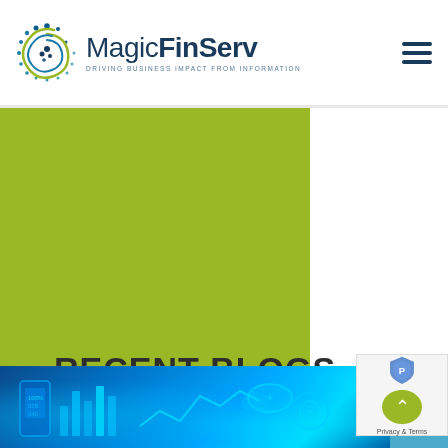MagicFinServ — DRIVING BUSINESS IMPACT FROM INFORMATION
[Figure (illustration): MagicFinServ logo with spiral dot icon and tagline 'DRIVING BUSINESS IMPACT FROM INFORMATION']
[Figure (illustration): Lime green decorative square block in upper left content area]
RECENT BLOGS
[Figure (illustration): Vertical teal sidebar with 'CATEGORY' text rotated 90 degrees]
[Figure (photo): Technology and finance themed image with blue digital charts and mobile devices on dark background]
[Figure (illustration): Privacy/terms badge with shield icon and green scroll-to-top button]